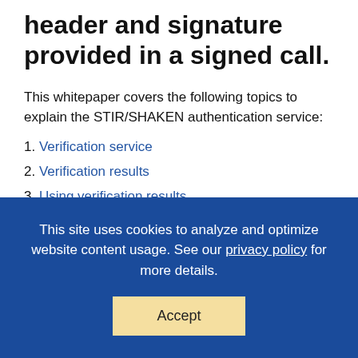header and signature provided in a signed call.
This whitepaper covers the following topics to explain the STIR/SHAKEN authentication service:
1. Verification service
2. Verification results
3. Using verification results
1. Verification service
This site uses cookies to analyze and optimize website content usage. See our privacy policy for more details.
Accept